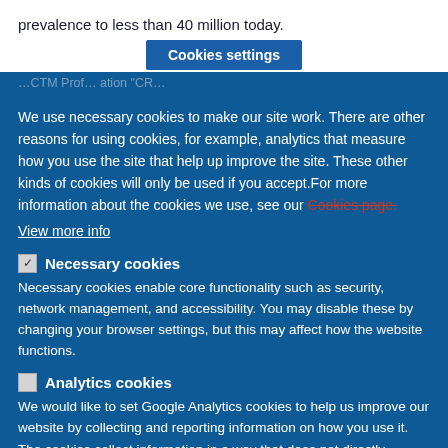prevalence to less than 40 million today.
Cookies settings
We use necessary cookies to make our site work. There are other reasons for using cookies, for example, analytics that measure how you use the site that help up improve the site. These other kinds of cookies will only be used if you accept.For more information about the cookies we use, see our Cookies page.
View more info
✅ Necessary cookies — Necessary cookies enable core functionality such as security, network management, and accessibility. You may disable these by changing your browser settings, but this may affect how the website functions.
☐ Analytics cookies — We would like to set Google Analytics cookies to help us improve our website by collecting and reporting information on how you use it. The cookies collect information in a way that does not directly identify anyone. For more information about these cookies, see our Cookies page.